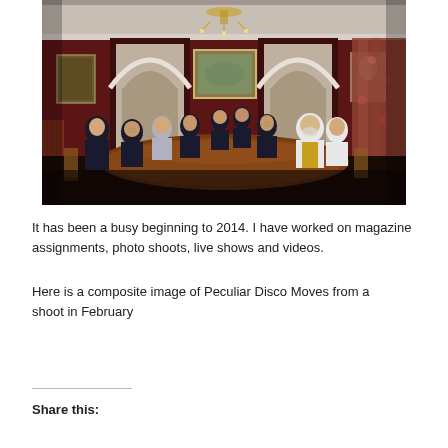[Figure (photo): Group photo of about 11 people (Peculiar Disco Moves) seated around a large oval wooden table in a grand room with dark red walls, white arched doorways, a chandelier, paintings, and floral curtains. People are dressed formally; one person in a white jacket and gold vest stands out on the right.]
It has been a busy beginning to 2014. I have worked on magazine assignments, photo shoots, live shows and videos.
Here is a composite image of Peculiar Disco Moves from a shoot in February
Share this: